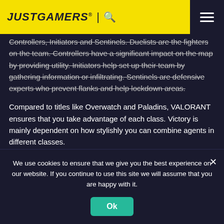JUSTGAMERS® | 🔍
Controllers, Initiators and Sentinels. Duelists are the fighters on the team. Controllers have a significant impact on the map by providing utility. Initiators help set up their team by gathering information or infiltrating. Sentinels are defensive experts who prevent flanks and help lockdown areas.
Compared to titles like Overwatch and Paladins, VALORANT ensures that you take advantage of each class. Victory is mainly dependent on how stylishly you can combine agents in different classes.
Although Overwatch and Paladins are also team-based, they are more hero focused. A hero in the hands of a very skilled
We use cookies to ensure that we give you the best experience on our website. If you continue to use this site we will assume that you are happy with it.